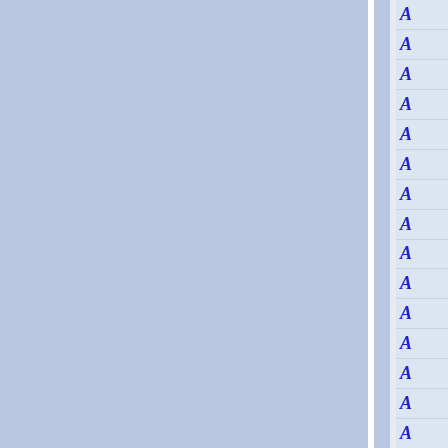[Figure (other): Document layout interface showing two large blue-grey panel columns separated by a white vertical divider, with a right-side panel containing a vertical list of 15 rows each showing an italic blue letter A]
A
A
A
A
A
A
A
A
A
A
A
A
A
A
A